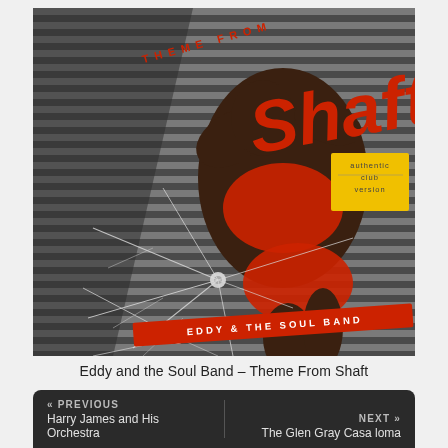[Figure (photo): Album cover for 'Theme From Shaft' by Eddy & the Soul Band. Shows a woman in red clothing posed against venetian blinds background with shattered glass (bullet hole effect). Red text reads 'THEME FROM SHAFT' at top, large red stylized 'Shaft' lettering, yellow text 'authentic club version', red banner at bottom reading 'EDDY & THE SOUL BAND'.]
Eddy and the Soul Band – Theme From Shaft
« PREVIOUS
Harry James and His Orchestra
NEXT »
The Glen Gray Casa loma